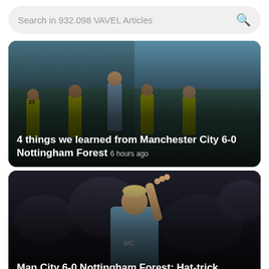Search in 932.098 VAVEL Articles
[Figure (photo): Football match scene showing players from Manchester City (light blue) and Nottingham Forest (yellow/green) competing for the ball, with a large crowd in the background.]
4 things we learned from Manchester City 6-0 Nottingham Forest  6 hours ago
[Figure (photo): A Manchester City player in light blue jersey raising his arm with three fingers up, celebrating, with blurred crowd in background.]
Man City 6-0 Nottingham Forest: Hat-trick